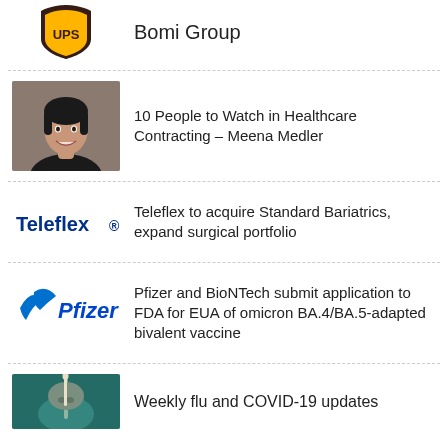[Figure (logo): UPS logo (partial, top of page)]
Bomi Group
[Figure (photo): Headshot of Meena Medler, a woman with dark hair and a smile]
10 People to Watch in Healthcare Contracting – Meena Medler
[Figure (logo): Teleflex logo in dark blue]
Teleflex to acquire Standard Bariatrics, expand surgical portfolio
[Figure (logo): Pfizer logo in blue]
Pfizer and BioNTech submit application to FDA for EUA of omicron BA.4/BA.5-adapted bivalent vaccine
[Figure (photo): Photo of a person receiving a nasal swab test]
Weekly flu and COVID-19 updates